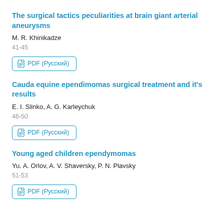The surgical tactics peculiarities at brain giant arterial aneurysms
M. R. Khinikadze
41-45
PDF (Русский)
Cauda equine ependimomas surgical treatment and it's results
E. I. Slinko, A. G. Karleychuk
46-50
PDF (Русский)
Young aged children ependymomas
Yu. A. Orlov, A. V. Shaversky, P. N. Plavsky
51-53
PDF (Русский)